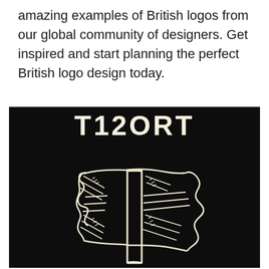amazing examples of British logos from our global community of designers. Get inspired and start planning the perfect British logo design today.
[Figure (logo): Black background logo design showing 'T12ORT' text in bold white/cream letters above a hand-drawn illustration of a waving Union Jack (British flag) in cream/off-white lines on black.]